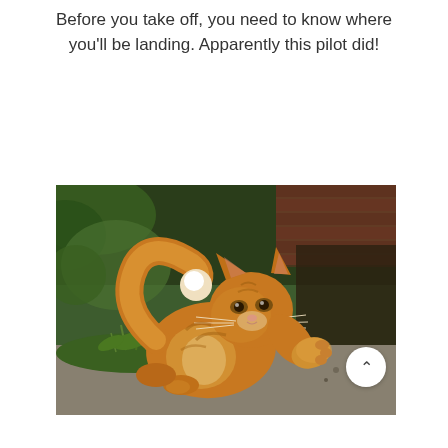Before you take off, you need to know where you'll be landing. Apparently this pilot did!
[Figure (photo): An orange tabby cat outdoors on a paved surface, raising one paw as if waving, with its fluffy tail curled upward. Green plants and a blurred garden background are visible.]